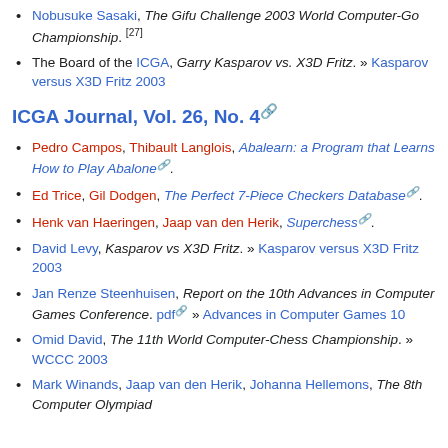Nobusuke Sasaki, The Gifu Challenge 2003 World Computer-Go Championship. [27]
The Board of the ICGA, Garry Kasparov vs. X3D Fritz. » Kasparov versus X3D Fritz 2003
ICGA Journal, Vol. 26, No. 4
Pedro Campos, Thibault Langlois, Abalearn: a Program that Learns How to Play Abalone.
Ed Trice, Gil Dodgen, The Perfect 7-Piece Checkers Database.
Henk van Haeringen, Jaap van den Herik, Superchess.
David Levy, Kasparov vs X3D Fritz. » Kasparov versus X3D Fritz 2003
Jan Renze Steenhuisen, Report on the 10th Advances in Computer Games Conference. pdf » Advances in Computer Games 10
Omid David, The 11th World Computer-Chess Championship. » WCCC 2003
Mark Winands, Jaap van den Herik, Johanna Hellemons, The 8th Computer Olympiad